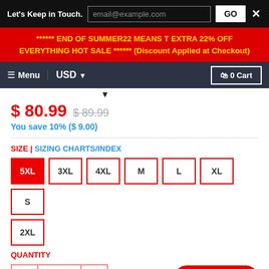Let's Keep in Touch. | email@example.com | GO | ×
****** END OF SUMMER22 MEANS T EXTRA 22% OFF EVERYTHING HOT SALE ****** (Discount Applied at Checkout)
≡ Menu | USD ▼ | 🔒 0 Cart
$ 80.99 $ 89.99
You save 10% ($ 9.00)
SIZE | SIZING CHARTS/INDEX
5XL
3XL
4XL
M
L
XL
S
2XL
QUANTITY
- | 1 | +
Chat with us